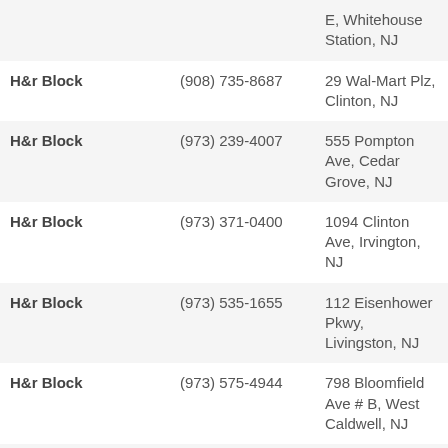| Name | Phone | Address |
| --- | --- | --- |
| H&r Block |  | E, Whitehouse Station, NJ |
| H&r Block | (908) 735-8687 | 29 Wal-Mart Plz, Clinton, NJ |
| H&r Block | (973) 239-4007 | 555 Pompton Ave, Cedar Grove, NJ |
| H&r Block | (973) 371-0400 | 1094 Clinton Ave, Irvington, NJ |
| H&r Block | (973) 535-1655 | 112 Eisenhower Pkwy, Livingston, NJ |
| H&r Block | (973) 575-4944 | 798 Bloomfield Ave # B, West Caldwell, NJ |
| H&r Block | (973) 728-2904 | 21 Marshall Hill Rd, West Milford, NJ |
| H&r Block | (973) 743-0898 | 299 Glenwood Ave, Bloomfield, NJ |
| H&r Block | (973) 744-5483 | 1 Lackawanna Plz, Montclair, NJ |
| H&r Block | (973) 751-3836 | 141 Washington |